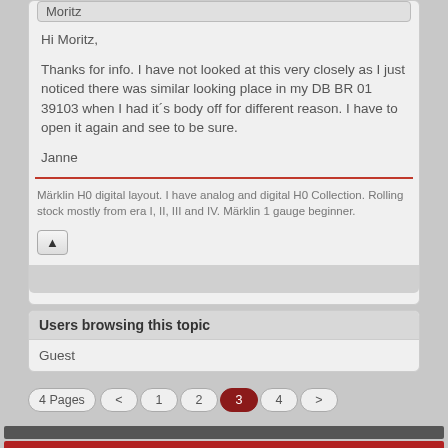Moritz
Hi Moritz,

Thanks for info. I have not looked at this very closely as I just noticed there was similar looking place in my DB BR 01 39103 when I had it´s body off for different reason. I have to open it again and see to be sure.

Janne
Märklin H0 digital layout. I have analog and digital H0 Collection. Rolling stock mostly from era I, II, III and IV. Märklin 1 gauge beginner.
Users browsing this topic
Guest
4 Pages  < 1 2 3 4 >